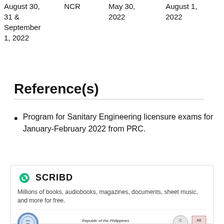| August 30,
31 &
September
1, 2022 | NCR | May 30,
2022 | August 1,
2022 |
Reference(s)
Program for Sanitary Engineering licensure exams for January-February 2022 from PRC.
[Figure (other): Scribd promotional box with logo, tagline 'Millions of books, audiobooks, magazines, documents, sheet music, and more for free.', and footer with PRC seal and accreditation logos.]